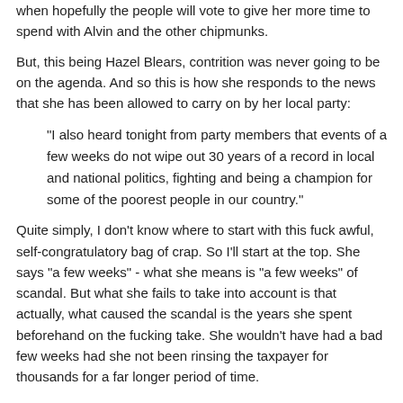when hopefully the people will vote to give her more time to spend with Alvin and the other chipmunks.
But, this being Hazel Blears, contrition was never going to be on the agenda. And so this is how she responds to the news that she has been allowed to carry on by her local party:
"I also heard tonight from party members that events of a few weeks do not wipe out 30 years of a record in local and national politics, fighting and being a champion for some of the poorest people in our country."
Quite simply, I don't know where to start with this fuck awful, self-congratulatory bag of crap. So I'll start at the top. She says "a few weeks" - what she means is "a few weeks" of scandal. But what she fails to take into account is that actually, what caused the scandal is the years she spent beforehand on the fucking take. She wouldn't have had a bad few weeks had she not been rinsing the taxpayer for thousands for a far longer period of time.
Also, out here in the real world, what you tend to find is that